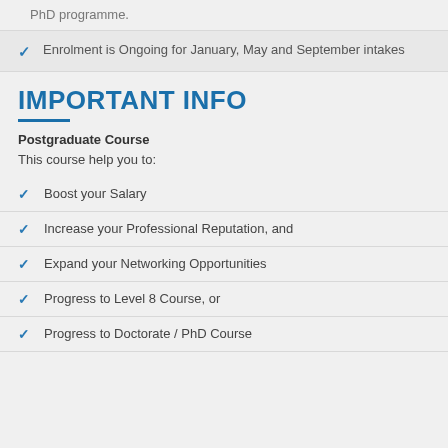PhD programme.
Enrolment is Ongoing for January, May and September intakes
IMPORTANT INFO
Postgraduate Course
This course help you to:
Boost your Salary
Increase your Professional Reputation, and
Expand your Networking Opportunities
Progress to Level 8 Course, or
Progress to Doctorate / PhD Course